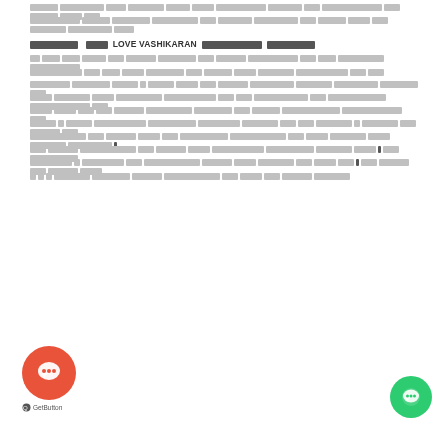[Hindi text paragraph 1 - line 1]
[Hindi text paragraph 1 - line 2]
[Hindi] LOVE VASHIKARAN [Hindi]
[Hindi body text paragraph spanning multiple lines about love vashikaran topic]
[Figure (other): Chat widget button (red circle with speech bubble icon) at bottom left, with GetButton label below it. Green circle chat widget at bottom right.]